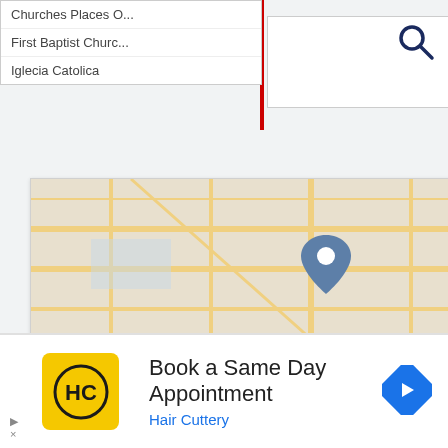Churches Places Of ...
First Baptist Church...
Iglecia Catolica
[Figure (map): Street map with location pin for First Chinese Baptist Church in Walnut CA]
FIRST CHINESE BAPTIST CHURCH
1555 Fairway Dr
Walnut, CA, 91789
9094680098
American Baptist Churches
Black Baptist Churches
Churches & Places Of Worship
Churches Baptist Southern
ies Places Of Worship
Book a Same Day Appointment
Hair Cuttery